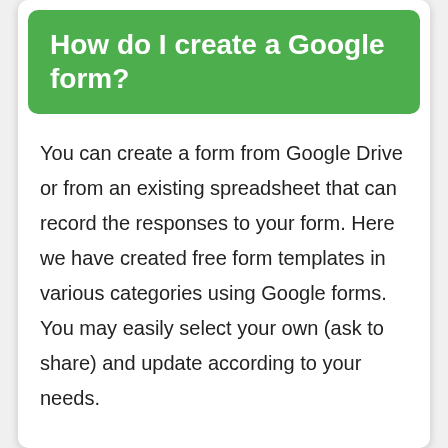How do I create a Google form?
You can create a form from Google Drive or from an existing spreadsheet that can record the responses to your form. Here we have created free form templates in various categories using Google forms. You may easily select your own (ask to share) and update according to your needs.